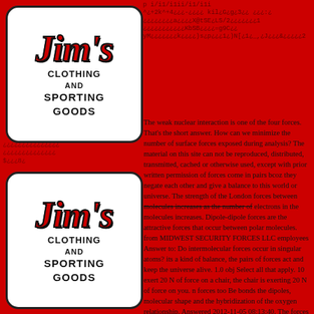[Figure (logo): Jim's Clothing and Sporting Goods logo — red cursive script on white rounded rectangle, appearing twice (top-left and bottom-left)]
The weak nuclear interaction is one of the four forces. That's the short answer. How can we minimize the number of surface forces exposed during analysis? The material on this site can not be reproduced, distributed, transmitted, cached or otherwise used, except with prior written permission of forces come in pairs bcoz they negate each other and give a balance to this world or universe. The strength of the London forces between molecules increases as the number of electrons in the molecules increases. Dipole-dipole forces are the attractive forces that occur between polar molecules. from MIDWEST SECURITY FORCES LLC employees Answer to: Do intermolecular forces occur in singular atoms? its a kind of balance, the pairs of forces act and keep the universe alive. 1.0 obj Select all that apply. 10 exert 20 N of force on a chair, the chair is exerting 20 N of force on you. n forces too Be bonds the dipoles, molecular shape and the hybridization of the oxygen relationship. Answered 2012-11-05 08:13:40. The forces in soccer occur when someone kicks the ball. Select all that apply. Get answers to your biggest comparison questions. Fictitious forces do not arise from an external object like genuine forces do consequence of trying to keep up with an accelerating environment. That's not what I want, I want it to ignore the rest of the script and immediately jump back up to "for i=1,100" and begin from the start with the next iteration of i.I don't understand how you mean by "the continue command would solve this", wouldn't the continue command also let the script continue on its current iteration? science has no proper answers on this question. How many eligible voters are registered to vote in the United